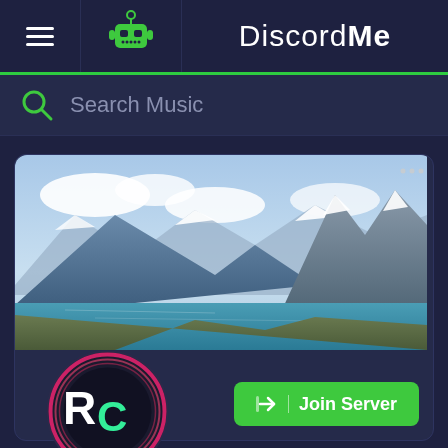DiscordMe
Search Music
[Figure (screenshot): Discord Me server listing page showing a server card with a mountain landscape banner image (Torres del Paine style), an RC logo circle overlaid on the bottom-left of the banner, and a green Join Server button at the bottom right.]
Join Server